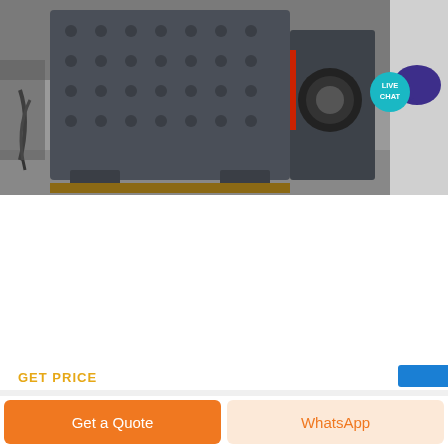[Figure (photo): Large grey industrial impact crusher/mining machinery photographed in a warehouse setting. The machine is heavy-duty metal with bolted panels.]
Kelly Gisa
Morobe Mining Joint Ventures. Cameron high school. Report this profile About I am an experienced Mining Operations TSF Dam Project Earthworks Coordinator, Supervisor and Machinery Operator with a career spanning over 25 years. I have a vast range of...
GET PRICE
Get a Quote
WhatsApp